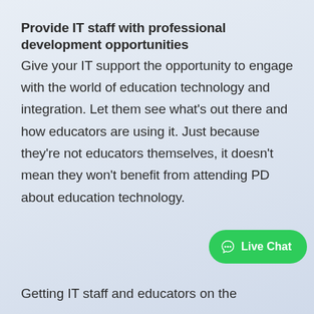Provide IT staff with professional development opportunities
Give your IT support the opportunity to engage with the world of education technology and integration. Let them see what’s out there and how educators are using it. Just because they’re not educators themselves, it doesn’t mean they won’t benefit from attending PD about education technology.
Getting IT staff and educators on the